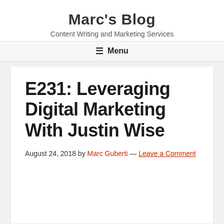Marc's Blog
Content Writing and Marketing Services
Menu
E231: Leveraging Digital Marketing With Justin Wise
August 24, 2018 by Marc Guberti — Leave a Comment